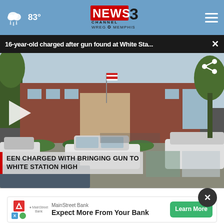83° NEWS 3 CHANNEL WREG MEMPHIS
16-year-old charged after gun found at White Sta... ×
[Figure (screenshot): News video thumbnail showing White Station High School building exterior with cars parked in front and an American flag. Lower third banner reads: TEEN CHARGED WITH BRINGING GUN TO WHITE STATION HIGH]
MainStreet Bank  Expect More From Your Bank  Learn More